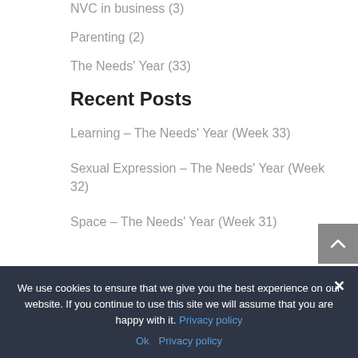NVC in business (3)
Parenting (2)
The Needs' Year (33)
Recent Posts
Learning – The Needs' Year (Week 33)
Sexual Expression – The Needs' Year (Week 32)
Space – The Needs' Year (Week 31)
We use cookies to ensure that we give you the best experience on our website. If you continue to use this site we will assume that you are happy with it. Privacy policy
Ok  Privacy policy